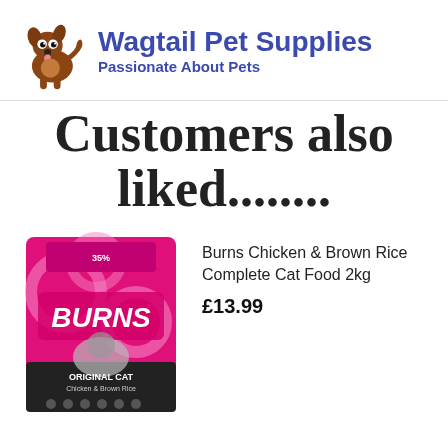[Figure (logo): Wagtail Pet Supplies logo with cartoon brown dog and blue brand text]
Customers also liked........
[Figure (photo): Burns Chicken & Brown Rice Original Cat food 2kg bag in pink and black packaging]
Burns Chicken & Brown Rice Complete Cat Food 2kg
£13.99